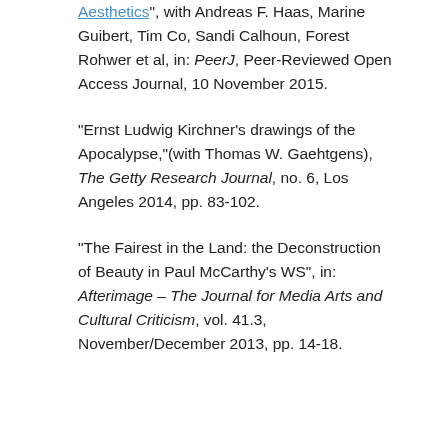Aesthetics", with Andreas F. Haas, Marine Guibert, Tim Co, Sandi Calhoun, Forest Rohwer et al, in: PeerJ, Peer-Reviewed Open Access Journal, 10 November 2015.
"Ernst Ludwig Kirchner's drawings of the Apocalypse,"(with Thomas W. Gaehtgens), The Getty Research Journal, no. 6, Los Angeles 2014, pp. 83-102.
"The Fairest in the Land: the Deconstruction of Beauty in Paul McCarthy's WS", in: Afterimage – The Journal for Media Arts and Cultural Criticism, vol. 41.3, November/December 2013, pp. 14-18.